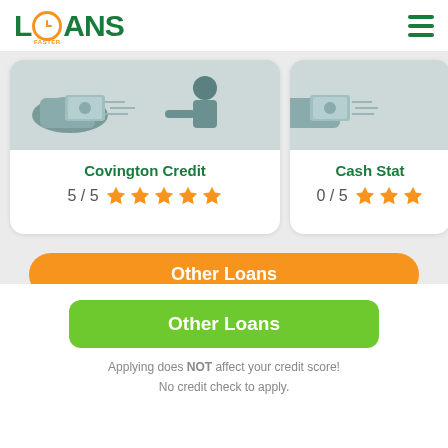[Figure (logo): Loans Faster logo with clock icon and hamburger menu]
[Figure (illustration): Illustration of hand passing money to a person - Covington Credit card]
Covington Credit
5 / 5 ★★★★★
[Figure (illustration): Illustration of hand passing money - Cash Stat card (partially visible)]
Cash Stat
0 / 5 ★★★
[Figure (other): Orange 'Other Loans' button partially visible]
[Figure (other): Green 'Other Loans' button]
Applying does NOT affect your credit score!
No credit check to apply.